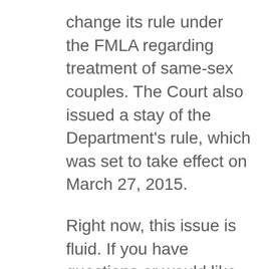change its rule under the FMLA regarding treatment of same-sex couples. The Court also issued a stay of the Department's rule, which was set to take effect on March 27, 2015.
Right now, this issue is fluid. If you have questions or would like legal advice on best practices in your FMLA policies and procedures, please contact one of our Employment Law attorneys, and we would be happy to work with you.
Davenport, Evans, Hurwitz & Smith, LLP, located in Sioux Falls, South Dakota, is one of the state's largest law firms. The firm's